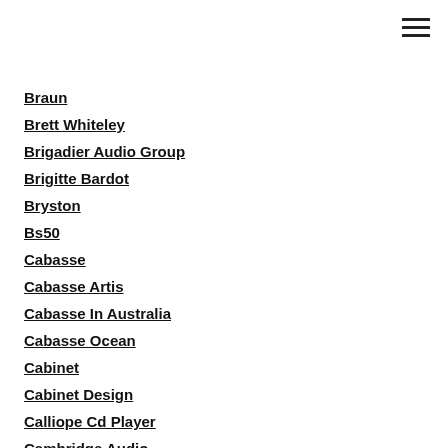Braun
Brett Whiteley
Brigadier Audio Group
Brigitte Bardot
Bryston
Bs50
Cabasse
Cabasse Artis
Cabasse In Australia
Cabasse Ocean
Cabinet
Cabinet Design
Calliope Cd Player
Cambridge Audio
Canon
Canor
Carol-Anne Cassidy